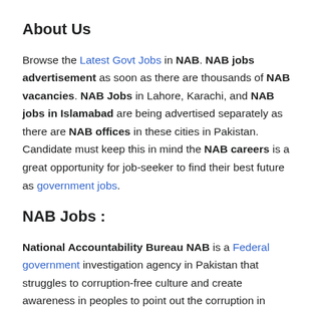About Us
Browse the Latest Govt Jobs in NAB. NAB jobs advertisement as soon as there are thousands of NAB vacancies. NAB Jobs in Lahore, Karachi, and NAB jobs in Islamabad are being advertised separately as there are NAB offices in these cities in Pakistan. Candidate must keep this in mind the NAB careers is a great opportunity for job-seeker to find their best future as government jobs.
NAB Jobs :
National Accountability Bureau NAB is a Federal government investigation agency in Pakistan that struggles to corruption-free culture and create awareness in peoples to point out the corruption in different private and government